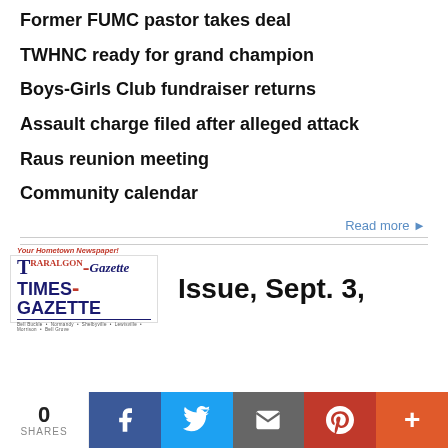Former FUMC pastor takes deal
TWHNC ready for grand champion
Boys-Girls Club fundraiser returns
Assault charge filed after alleged attack
Raus reunion meeting
Community calendar
Read more ▶
[Figure (logo): Traralgon Times-Gazette Weekend newspaper logo with tagline 'Your Hometown Newspaper!']
Issue, Sept. 3,
0 SHARES
[Figure (infographic): Social sharing bar with Facebook, Twitter, Email, Pinterest, and More buttons]